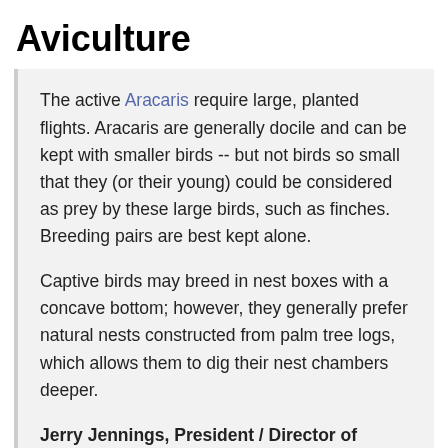Aviculture
The active Aracaris require large, planted flights. Aracaris are generally docile and can be kept with smaller birds -- but not birds so small that they (or their young) could be considered as prey by these large birds, such as finches. Breeding pairs are best kept alone.
Captive birds may breed in nest boxes with a concave bottom; however, they generally prefer natural nests constructed from palm tree logs, which allows them to dig their nest chambers deeper.
Jerry Jennings, President / Director of Emerald Forest Bird Gardens provides